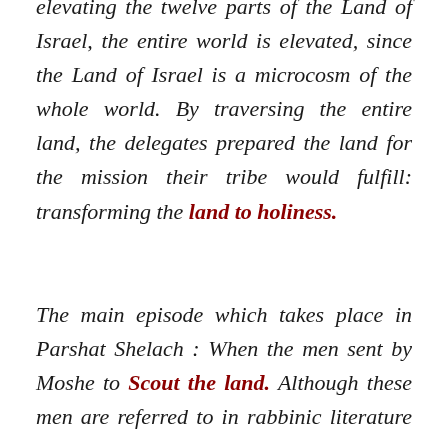elevating the twelve parts of the Land of Israel, the entire world is elevated, since the Land of Israel is a microcosm of the whole world. By traversing the entire land, the delegates prepared the land for the mission their tribe would fulfill: transforming the land to holiness.
The main episode which takes place in Parshat Shelach : When the men sent by Moshe to Scout the land. Although these men are referred to in rabbinic literature as